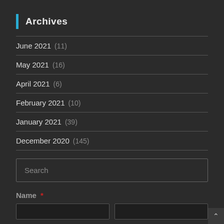Archives
June 2021 (11)
May 2021 (16)
April 2021 (6)
February 2021 (10)
January 2021 (39)
December 2020 (145)
Search
Name *